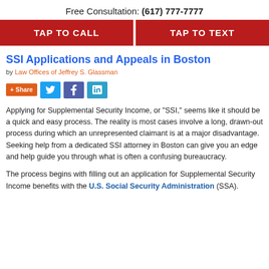Free Consultation: (617) 777-7777
TAP TO CALL
TAP TO TEXT
SSI Applications and Appeals in Boston
by Law Offices of Jeffrey S. Glassman
+ Share
Applying for Supplemental Security Income, or “SSI,” seems like it should be a quick and easy process. The reality is most cases involve a long, drawn-out process during which an unrepresented claimant is at a major disadvantage. Seeking help from a dedicated SSI attorney in Boston can give you an edge and help guide you through what is often a confusing bureaucracy.
The process begins with filling out an application for Supplemental Security Income benefits with the U.S. Social Security Administration (SSA).